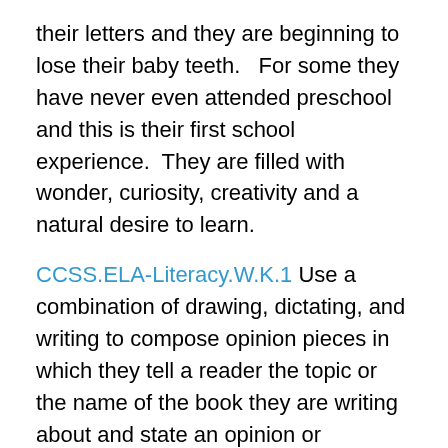their letters and they are beginning to lose their baby teeth.   For some they have never even attended preschool and this is their first school experience.  They are filled with wonder, curiosity, creativity and a natural desire to learn.
CCSS.ELA-Literacy.W.K.1 Use a combination of drawing, dictating, and writing to compose opinion pieces in which they tell a reader the topic or the name of the book they are writing about and state an opinion or preference about the topic or book (e.g., My favorite book is…).
I would argue that this is a more realistic standard for our 1st or 2nd graders.  Do we want our students to succeed or do we want to set standards that are so out of their range of normal development that they fail even before they begin?